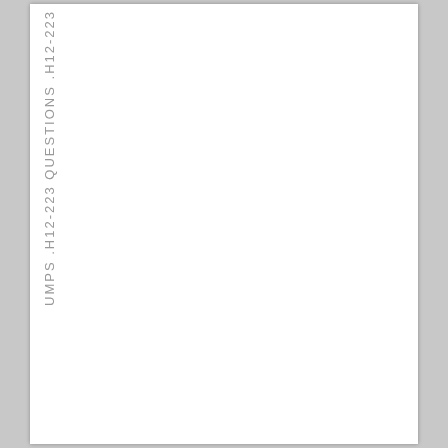UMPS .H12-223 QUESTIONS .H12-223